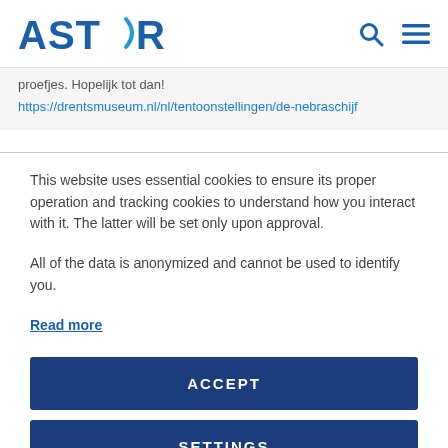ASTRON
proefjes. Hopelijk tot dan!
https://drentsmuseum.nl/nl/tentoonstellingen/de-nebraschijf
This website uses essential cookies to ensure its proper operation and tracking cookies to understand how you interact with it. The latter will be set only upon approval.
All of the data is anonymized and cannot be used to identify you.
Read more
ACCEPT
SETTINGS